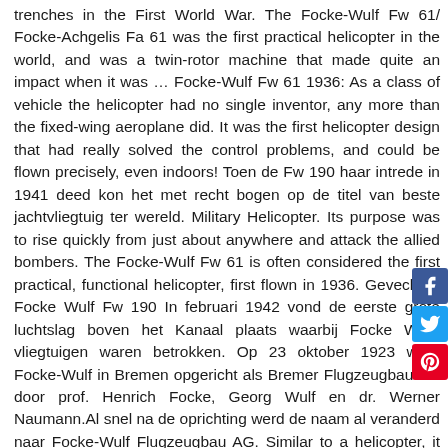trenches in the First World War. The Focke-Wulf Fw 61/ Focke-Achgelis Fa 61 was the first practical helicopter in the world, and was a twin-rotor machine that made quite an impact when it was … Focke-Wulf Fw 61 1936: As a class of vehicle the helicopter had no single inventor, any more than the fixed-wing aeroplane did. It was the first helicopter design that had really solved the control problems, and could be flown precisely, even indoors! Toen de Fw 190 haar intrede in 1941 deed kon het met recht bogen op de titel van beste jachtvliegtuig ter wereld. Military Helicopter. Its purpose was to rise quickly from just about anywhere and attack the allied bombers. The Focke-Wulf Fw 61 is often considered the first practical, functional helicopter, first flown in 1936. Gevechten Focke Wulf Fw 190 In februari 1942 vond de eerste grote luchtslag boven het Kanaal plaats waarbij Focke Wolf-vliegtuigen waren betrokken. Op 23 oktober 1923 werd Focke-Wulf in Bremen opgericht als Bremer Flugzeugbau AG door prof. Henrich Focke, Georg Wulf en dr. Werner Naumann.Al snel na de oprichting werd de naam al veranderd naar Focke-Wulf Flugzeugbau AG. Similar to a helicopter, it was powered by THREE large wing-like rotors but unlike a helicopter, the rotors turned around the fuselage. Focke-Wulf Fw 61 helicopter - development history, photos, technical data. German Focke-Wulf Fw 61 Helicopter. Henrich Focke oli alkanut suunnitella helikopteria jo vuonna 1932 ja maailman ensimmäinen helikopteri, Focke-Wulf Fw 61, lensi ensilentonsa vuonna 1936. Plane Dimmensions Wingspan - 5250mm / 206.6" Weight - 100kg Engine